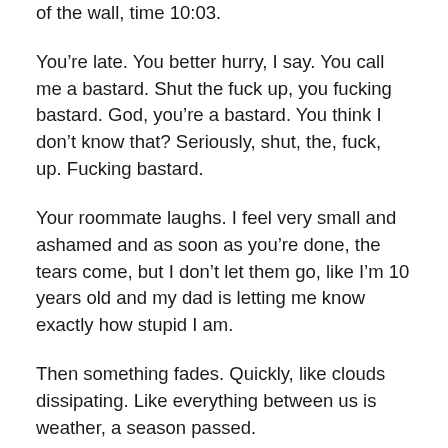of the wall, time 10:03.
You're late. You better hurry, I say. You call me a bastard. Shut the fuck up, you fucking bastard. God, you're a bastard. You think I don't know that? Seriously, shut, the, fuck, up. Fucking bastard.
Your roommate laughs. I feel very small and ashamed and as soon as you're done, the tears come, but I don't let them go, like I'm 10 years old and my dad is letting me know exactly how stupid I am.
Then something fades. Quickly, like clouds dissipating. Like everything between us is weather, a season passed.
I haven't told you I've stopped loving you. You're on your way to New York for some bachelor party and although I do not love you anymore, I do not hate you. I do not dislike